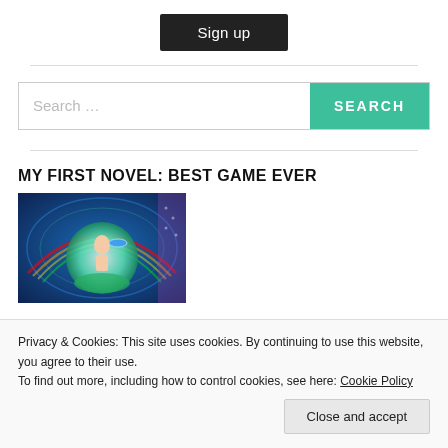[Figure (other): Sign up button (dark/black background, white text)]
[Figure (other): Search bar with teal SEARCH button]
MY FIRST NOVEL: BEST GAME EVER
[Figure (photo): A colorful video game style image showing a man holding a glowing orb/frisbee inside a globe, with rainbow and digital tunnel background. Dark blue, green, purple tones.]
Privacy & Cookies: This site uses cookies. By continuing to use this website, you agree to their use.
To find out more, including how to control cookies, see here: Cookie Policy
[Figure (other): Close and accept button]